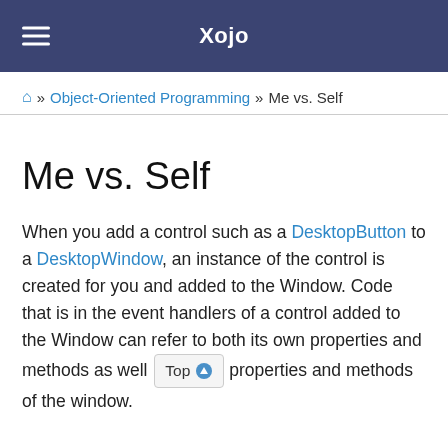Xojo
🏠 » Object-Oriented Programming » Me vs. Self
Me vs. Self
When you add a control such as a DesktopButton to a DesktopWindow, an instance of the control is created for you and added to the Window. Code that is in the event handlers of a control added to the Window can refer to both its own properties and methods as well as the properties and methods of the window.